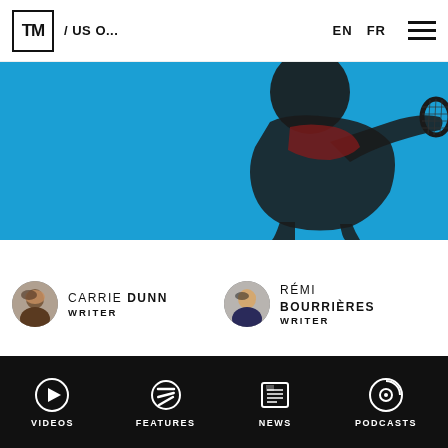TM / US O... EN FR
[Figure (photo): Silhouette of a tennis player serving against a blue background]
CARRIE DUNN
WRITER
RÉMI BOURRIÈRES
WRITER
VIDEOS  FEATURES  NEWS  PODCASTS